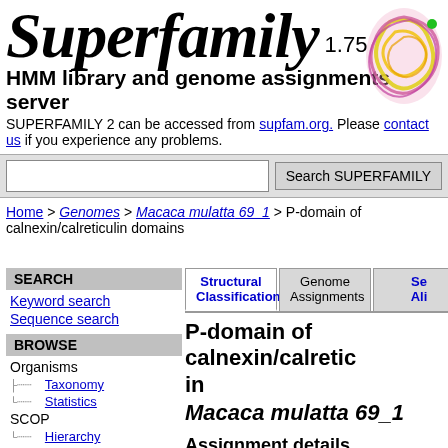Superfamily 1.75
HMM library and genome assignments server
SUPERFAMILY 2 can be accessed from supfam.org. Please contact us if you experience any problems.
[Search box] Search SUPERFAMILY
Home > Genomes > Macaca mulatta 69_1 > P-domain of calnexin/calreticulin domains
SEARCH
Keyword search
Sequence search
BROWSE
Organisms
Taxonomy
Statistics
SCOP
Hierarchy
Ontologies
Structural Classification | Genome Assignments | Sequence Alignment
P-domain of calnexin/calreticulin domains in Macaca mulatta 69_1
Assignment details
(show help)